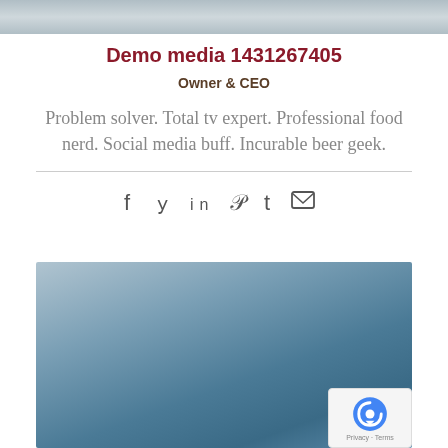[Figure (photo): Top banner image with blue-grey gradient background]
Demo media 1431267405
Owner & CEO
Problem solver. Total tv expert. Professional food nerd. Social media buff. Incurable beer geek.
[Figure (infographic): Social media icons: Facebook, Twitter, LinkedIn, Pinterest, Tumblr, Email]
[Figure (photo): Large blue-grey gradient background image, lower portion of page]